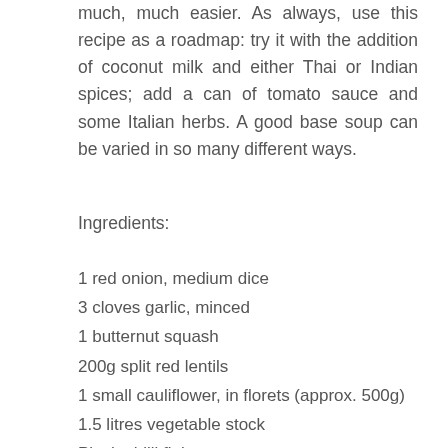much, much easier. As always, use this recipe as a roadmap: try it with the addition of coconut milk and either Thai or Indian spices; add a can of tomato sauce and some Italian herbs. A good base soup can be varied in so many different ways.
Ingredients:
1 red onion, medium dice
3 cloves garlic, minced
1 butternut squash
200g split red lentils
1 small cauliflower, in florets (approx. 500g)
1.5 litres vegetable stock
Pinch chilli flakes